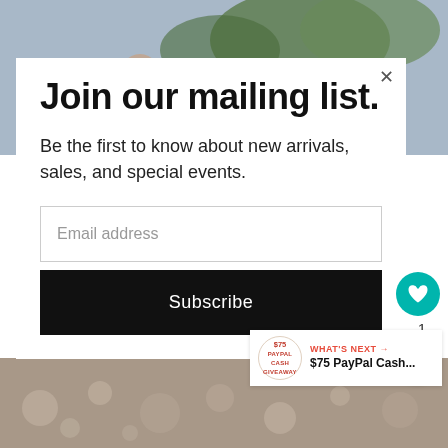[Figure (photo): Background photo of a child outdoors near a fence with trees]
Join our mailing list.
Be the first to know about new arrivals, sales, and special events.
Email address
Subscribe
WHAT'S NEXT → $75 PayPal Cash...
[Figure (photo): Blurred bokeh background photo at bottom]